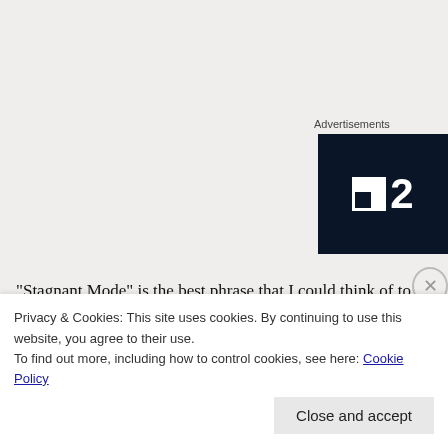Advertisements
[Figure (logo): Advertisement box with dark navy background showing a white square icon and bold white number '2', resembling a TV channel 2 logo.]
“Stagnant Mode” is the best phrase that I could think of to describe th
Mary and I arrived back at her home in California on October 10, 201 maintenance on the motorhome and towed Ford Bronco II.
Privacy & Cookies: This site uses cookies. By continuing to use this website, you agree to their use.
To find out more, including how to control cookies, see here: Cookie Policy
Close and accept